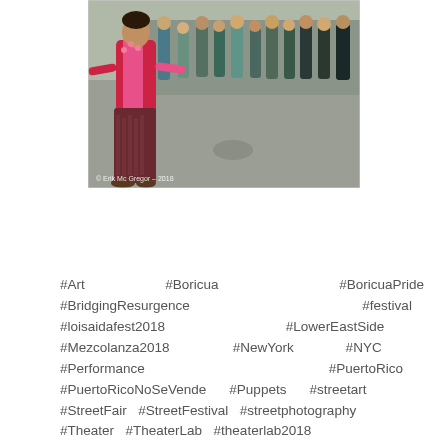[Figure (photo): Outdoor street festival photo showing a performer in colorful red, pink and patterned clothing in the foreground with arms outstretched, and a crowd of people watching in the background. Watermark text reads '© Erik Mc Gregor – 2018'.]
#Art #Boricua #BoricuaPride #BridgingResurgence #festival #loisaidafest2018 #LowerEastSide #Mezcolanza2018 #NewYork #NYC #Performance #PuertoRico #PuertoRicoNoSeVende #Puppets #streetart #StreetFair #StreetFestival #streetphotography #Theater #TheaterLab #theaterlab2018